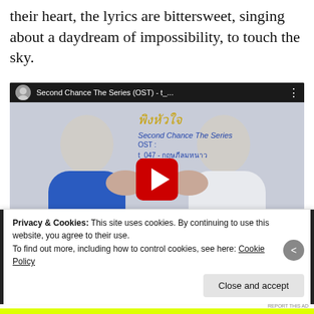their heart, the lyrics are bittersweet, singing about a daydream of impossibility, to touch the sky.
[Figure (screenshot): YouTube video embed showing 'Second Chance The Series (OST) - t_...' with thumbnail of two young men in blue and white shirts facing each other with hands touching, with Thai text overlay and YouTube play button]
Privacy & Cookies: This site uses cookies. By continuing to use this website, you agree to their use.
To find out more, including how to control cookies, see here: Cookie Policy
Close and accept